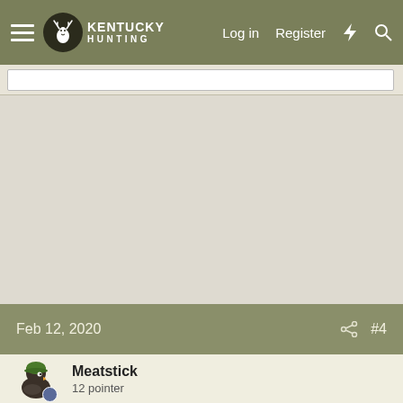Kentucky Hunting — Log in  Register
[Figure (screenshot): Empty main content area with light beige background]
Feb 12, 2020   #4
Meatstick
12 pointer